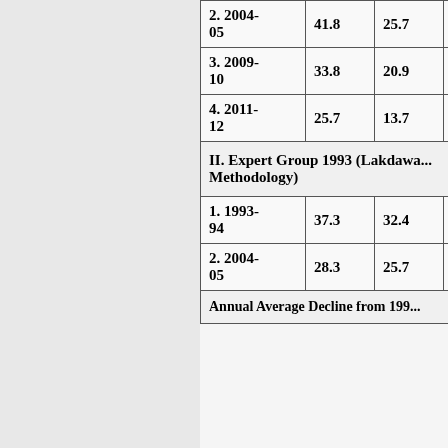| Year | Col1 | Col2 | Col3 | Col4 |
| --- | --- | --- | --- | --- |
| 2. 2004-05 | 41.8 | 25.7 | 37.2 | 326.3... |
| 3. 2009-10 | 33.8 | 20.9 | 29.8 | 278.2... |
| 4. 2011-12 | 25.7 | 13.7 | 21.9 | 216.5... |
| II. Expert Group 1993 (Lakdawal Methodology) |  |  |  |  |
| 1. 1993-94 | 37.3 | 32.4 | 36.0 | 244.0... |
| 2. 2004-05 | 28.3 | 25.7 | 27.5 | 220.9 |
| Annual Average Decline from 199... |  |  |  |  |